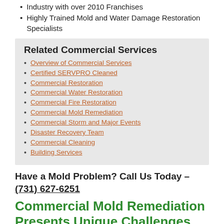Industry with over 2010 Franchises
Highly Trained Mold and Water Damage Restoration Specialists
Related Commercial Services
Overview of Commercial Services
Certified SERVPRO Cleaned
Commercial Restoration
Commercial Water Restoration
Commercial Fire Restoration
Commercial Mold Remediation
Commercial Storm and Major Events
Disaster Recovery Team
Commercial Cleaning
Building Services
Have a Mold Problem? Call Us Today – (731) 627-6251
Commercial Mold Remediation Presents Unique Challenges